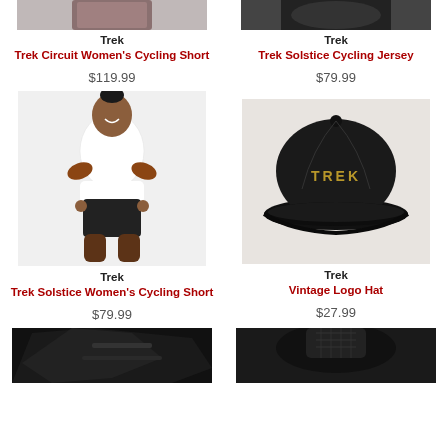[Figure (photo): Partial view of a woman wearing a Trek cycling jersey - cropped top portion]
Trek
Trek Circuit Women's Cycling Short
$119.99
[Figure (photo): Partial view of a woman wearing Trek cycling apparel - cropped top portion]
Trek
Trek Solstice Cycling Jersey
$79.99
[Figure (photo): Woman wearing white crop top and black cycling shorts, standing with hands on hips, smiling]
Trek
Trek Solstice Women's Cycling Short
$79.99
[Figure (photo): Black Trek Vintage Logo Hat on light background, with gold TREK embroidery on front]
Trek
Vintage Logo Hat
$27.99
[Figure (photo): Partial view of black cycling gloves or shorts, bottom of page]
[Figure (photo): Partial view of person wearing black cycling apparel, bottom of page]